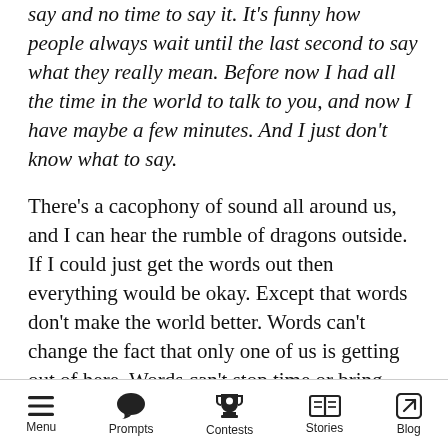say and no time to say it. It's funny how people always wait until the last second to say what they really mean. Before now I had all the time in the world to talk to you, and now I have maybe a few minutes. And I just don't know what to say.
There's a cacophony of sound all around us, and I can hear the rumble of dragons outside. If I could just get the words out then everything would be okay. Except that words don't make the world better. Words can't change the fact that only one of us is getting out of here. Words can't stop time or bring back lost time. Words are only going to hurt now.
“We’re out of time.” My mother cups my cheeks
Menu  Prompts  Contests  Stories  Blog